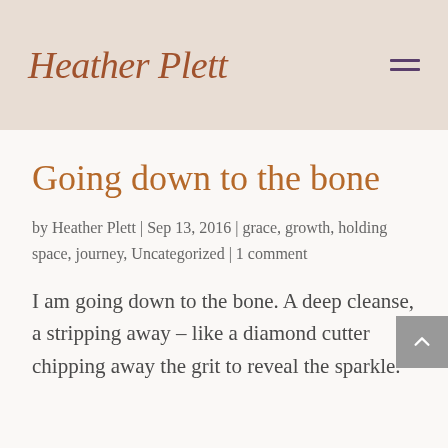Heather Plett
Going down to the bone
by Heather Plett | Sep 13, 2016 | grace, growth, holding space, journey, Uncategorized | 1 comment
I am going down to the bone. A deep cleanse, a stripping away – like a diamond cutter chipping away the grit to reveal the sparkle.